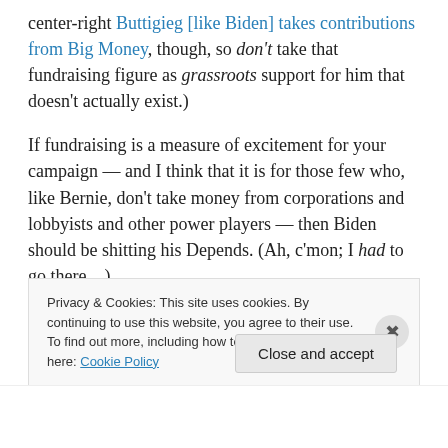center-right Buttigieg [like Biden] takes contributions from Big Money, though, so don't take that fundraising figure as grassroots support for him that doesn't actually exist.)
If fundraising is a measure of excitement for your campaign — and I think that it is for those few who, like Bernie, don't take money from corporations and lobbyists and other power players — then Biden should be shitting his Depends. (Ah, c'mon; I had to go there…)
On that note, Biden continues to drop in the polls. Right
Privacy & Cookies: This site uses cookies. By continuing to use this website, you agree to their use.
To find out more, including how to control cookies, see here: Cookie Policy